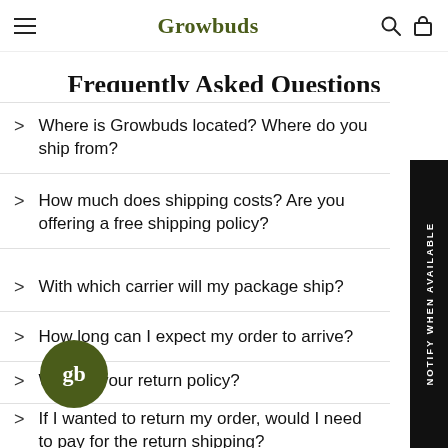Growbuds
Frequently Asked Questions
Where is Growbuds located? Where do you ship from?
How much does shipping costs? Are you offering a free shipping policy?
With which carrier will my package ship?
How long can I expect my order to arrive?
What is your return policy?
If I wanted to return my order, would I need to pay for the return shipping?